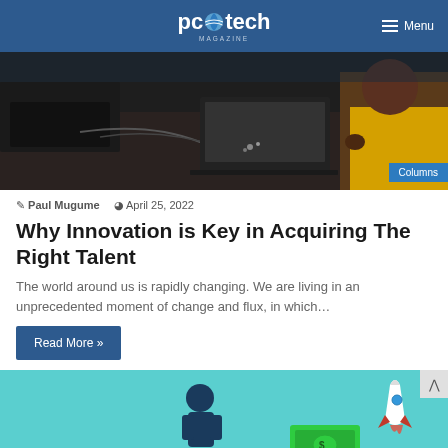pc tech MAGAZINE — Menu
[Figure (photo): Two people working at a dark wooden desk with laptops and cables. A woman in a yellow outfit is visible on the right side.]
Paul Mugume  April 25, 2022
Why Innovation is Key in Acquiring The Right Talent
The world around us is rapidly changing. We are living in an unprecedented moment of change and flux, in which…
Read More »
[Figure (illustration): Teal/cyan background illustration with a silhouette of a person, a money/dollar bill graphic, and a rocket ship icon.]